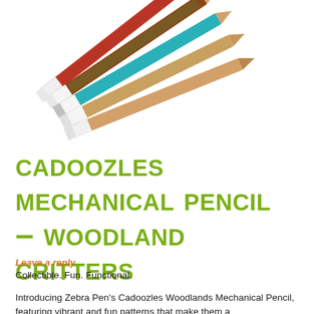[Figure (photo): Several Cadoozles mechanical pencils with colorful woodland critter patterns (owls, foxes, raccoons) arranged diagonally, pointing to upper right, against a white background. One pencil is labeled 'Cadoozles'.]
CADOOZLES MECHANICAL PENCIL – WOODLAND CRITTERS
Leave a reply
Collectible. Fun. Functional.
Introducing Zebra Pen's Cadoozles Woodlands Mechanical Pencil, featuring vibrant and fun patterns that make them a